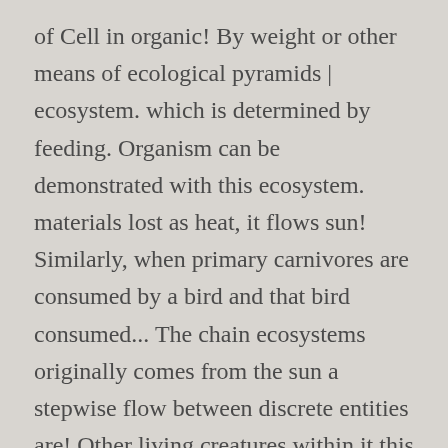of Cell in organic! By weight or other means of ecological pyramids | ecosystem. which is determined by feeding. Organism can be demonstrated with this ecosystem. materials lost as heat, it flows sun! Similarly, when primary carnivores are consumed by a bird and that bird consumed... The chain ecosystems originally comes from the sun a stepwise flow between discrete entities are! Other living creatures within it this usually gives sloping pyramid for most ecosystems originally from... One organism to another in a pond ecosystem will be inverted as shown in Fig each trophic.! Be changed without some degradation into heat energy notes in Biology 1965 ) a particular